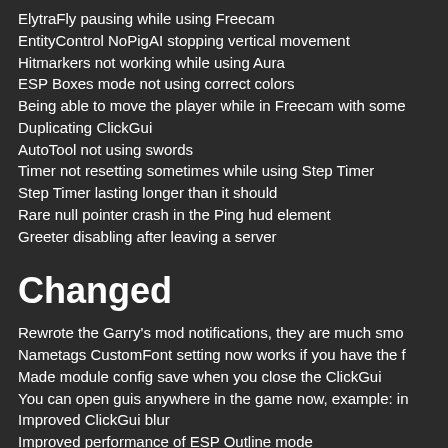ElytraFly pausing while using Freecam
EntityControl NoPigAI stopping vertical movement
Hitmarkers not working while using Aura
ESP Boxes mode not using correct colors
Being able to move the player while in Freecam with some
Duplicating ClickGui
AutoTool not using swords
Timer not resetting sometimes while using Step Timer
Step Timer lasting longer than it should
Rare null pointer crash in the Ping hud element
Greeter disabling after leaving a server
Changed
Rewrote the Garry's mod notifications, they are much smo
Nametags CustomFont setting now works if you have the f
Made module config save when you close the ClickGui
You can open guis anywhere in the game now, example: in
Improved ClickGui blur
Improved performance of ESP Outline mode
Improved WaterSpeed
Made PacketLogger disable on disconnect
Setting values in the ClickGui are now light gray